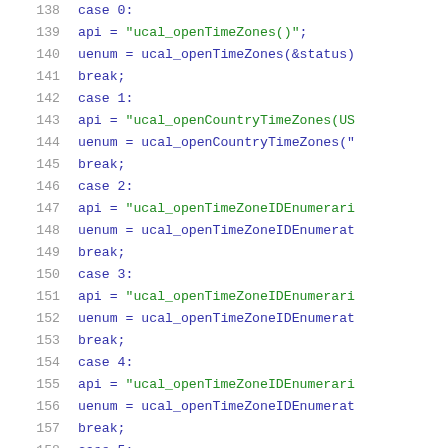[Figure (screenshot): Source code snippet showing switch-case statements in C/C++ style code, lines 138-158, with syntax highlighting: line numbers in gray, keywords in blue, string literals in green.]